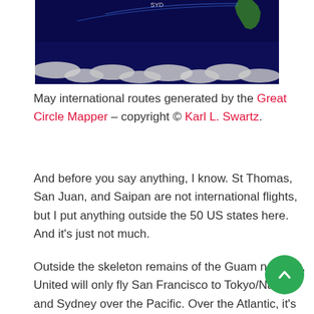[Figure (map): World map showing international flight routes, featuring a dark navy background with cloud formations visible at the bottom and South America landmass visible at top right. Generated by Great Circle Mapper.]
May international routes generated by the Great Circle Mapper – copyright © Karl L. Swartz.
And before you say anything, I know. St Thomas, San Juan, and Saipan are not international flights, but I put anything outside the 50 US states here. And it's just not much.
Outside the skeleton remains of the Guam network, United will only fly San Francisco to Tokyo/Narita and Sydney over the Pacific. Over the Atlantic, it's just a handful of flights to Amsterdam, Frankfurt, and London/Heathrow. And outside of Sao Paulo,